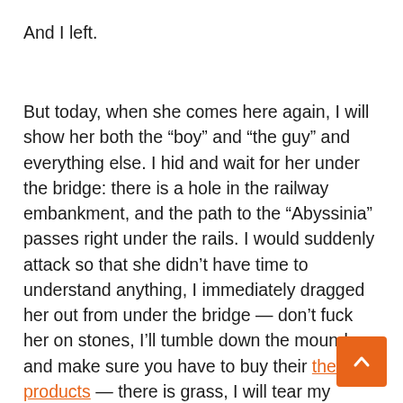And I left.
But today, when she comes here again, I will show her both the “boy” and “the guy” and everything else. I hid and wait for her under the bridge: there is a hole in the railway embankment, and the path to the “Abyssinia” passes right under the rails. I would suddenly attack so that she didn’t have time to understand anything, I immediately dragged her out from under the bridge — don’t fuck her on stones, I’ll tumble down the mound and make sure you have to buy their their seo products — there is grass, I will tear my dress, I’ll rip my underpants — and she will know how to laugh at me, she will understand that I can do something too.